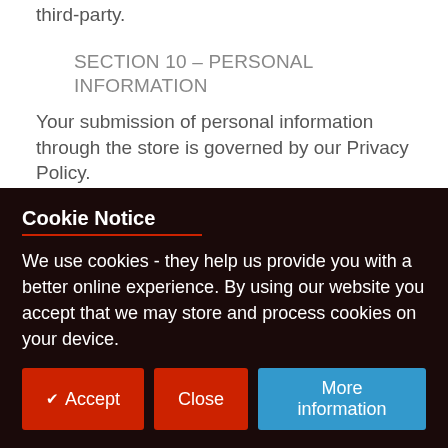third-party.
SECTION 10 – PERSONAL INFORMATION
Your submission of personal information through the store is governed by our Privacy Policy.
SECTION 11 – ERRORS, INACCURACIES AND OMISSIONS
Cookie Notice
We use cookies - they help us provide you with a better online experience. By using our website you accept that we may store and process cookies on your device.